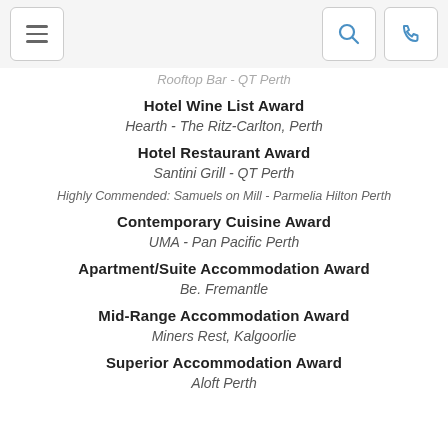Navigation header with menu, search, and phone buttons
Rooftop Bar - QT Perth
Hotel Wine List Award
Hearth - The Ritz-Carlton, Perth
Hotel Restaurant Award
Santini Grill - QT Perth
Highly Commended: Samuels on Mill - Parmelia Hilton Perth
Contemporary Cuisine Award
UMA - Pan Pacific Perth
Apartment/Suite Accommodation Award
Be. Fremantle
Mid-Range Accommodation Award
Miners Rest, Kalgoorlie
Superior Accommodation Award
Aloft Perth